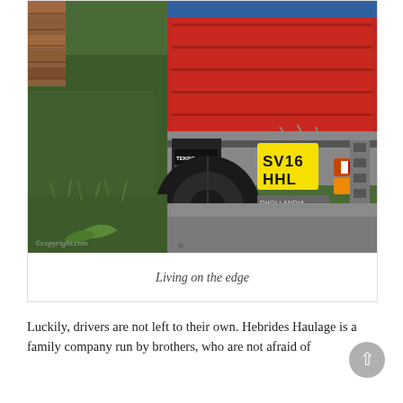[Figure (photo): Close-up photo of the rear of a red lorry/truck (registration plate SV16 HHL) with TEKBO branding, precariously close to the edge of a grassy verge on a narrow road. The truck has a yellow number plate and visible tail lights. Grass embankment and gravel road visible. Watermark text visible at bottom left. DHOLLANDIA visible on rear platform.]
Living on the edge
Luckily, drivers are not left to their own. Hebrides Haulage is a family company run by brothers, who are not afraid of